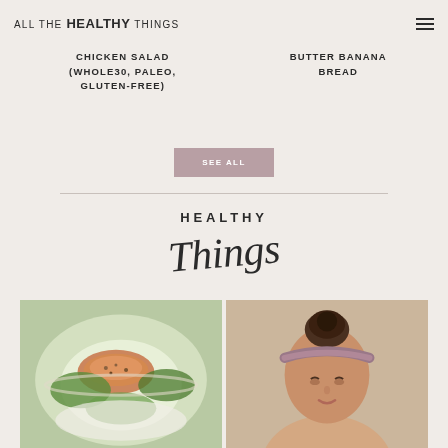ALL THE healthy THINGS
CHICKEN SALAD (WHOLE30, PALEO, GLUTEN-FREE)
BUTTER BANANA BREAD
SEE ALL
HEALTHY Things
[Figure (photo): Food bowl with salmon and greens]
[Figure (photo): Person wearing a headband]